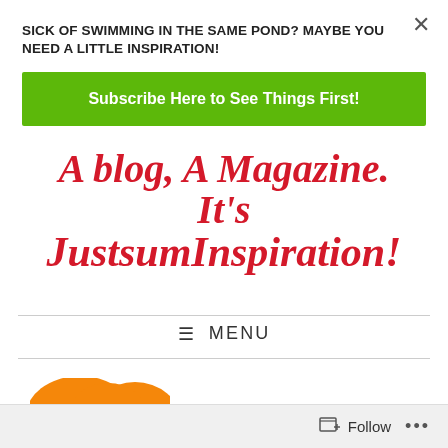SICK OF SWIMMING IN THE SAME POND? MAYBE YOU NEED A LITTLE INSPIRATION!
Subscribe Here to See Things First!
A blog, A Magazine. It's JustsumInspiration!
≡ MENU
[Figure (illustration): Orange heart/cloud shape at bottom left]
Follow ...